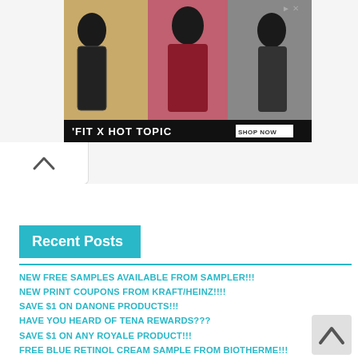[Figure (screenshot): Advertisement banner for 'FIT X HOT TOPIC' showing three young people in edgy fashion. Has 'SHOP NOW' button and ad icons in top-right corner.]
[Figure (screenshot): Upward chevron/caret button in a white rounded box, used for scrolling up.]
Recent Posts
NEW FREE SAMPLES AVAILABLE FROM SAMPLER!!!
NEW PRINT COUPONS FROM KRAFT/HEINZ!!!!
SAVE $1 ON DANONE PRODUCTS!!!
HAVE YOU HEARD OF TENA REWARDS???
SAVE $1 ON ANY ROYALE PRODUCT!!!
FREE BLUE RETINOL CREAM SAMPLE FROM BIOTHERME!!!
FREE CETAPHIL CLEANSER SAMPLES!!
[Figure (screenshot): Upward chevron/caret scroll button in bottom-right corner.]